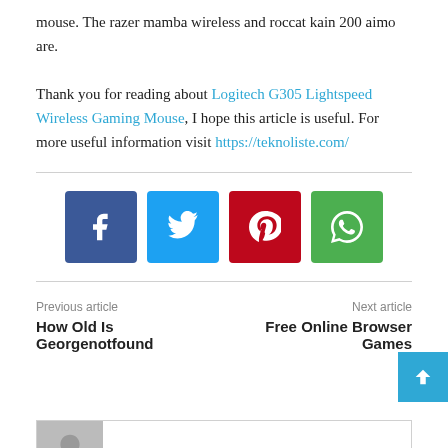mouse. The razer mamba wireless and roccat kain 200 aimo are.
Thank you for reading about Logitech G305 Lightspeed Wireless Gaming Mouse, I hope this article is useful. For more useful information visit https://teknoliste.com/
[Figure (infographic): Social share buttons: Facebook (blue), Twitter (light blue), Pinterest (red), WhatsApp (green)]
Previous article
How Old Is Georgenotfound
Next article
Free Online Browser Games
[Figure (illustration): Author avatar placeholder (gray background with person silhouette icon)]